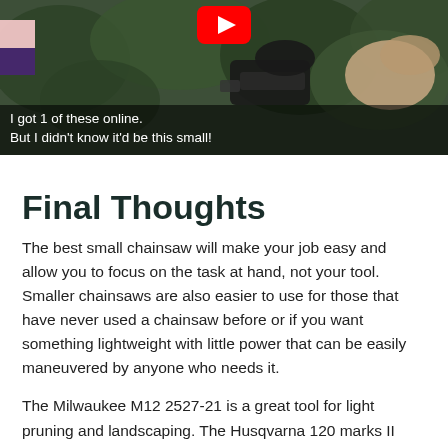[Figure (screenshot): YouTube video thumbnail showing a person holding a small chainsaw outdoors among green plants, with a YouTube play button visible at the top center. Subtitles at the bottom read: 'I got 1 of these online.' and 'But I didn't know it'd be this small!']
Final Thoughts
The best small chainsaw will make your job easy and allow you to focus on the task at hand, not your tool. Smaller chainsaws are also easier to use for those that have never used a chainsaw before or if you want something lightweight with little power that can be easily maneuvered by anyone who needs it.
The Milwaukee M12 2527-21 is a great tool for light pruning and landscaping. The Husqvarna 120 marks II also has a powerful, high-performance gas engine that will meet its objective. The 6.5-inch chain bars are ideal for trimming the